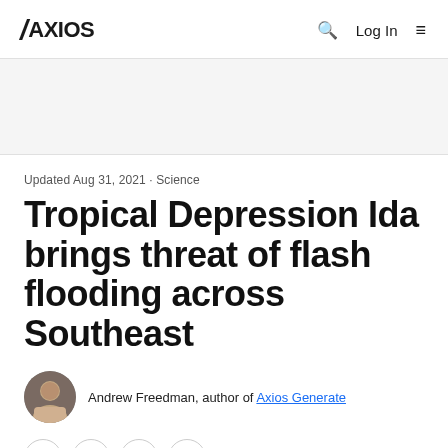AXIOS | Log In
Updated Aug 31, 2021 - Science
Tropical Depression Ida brings threat of flash flooding across Southeast
Andrew Freedman, author of Axios Generate